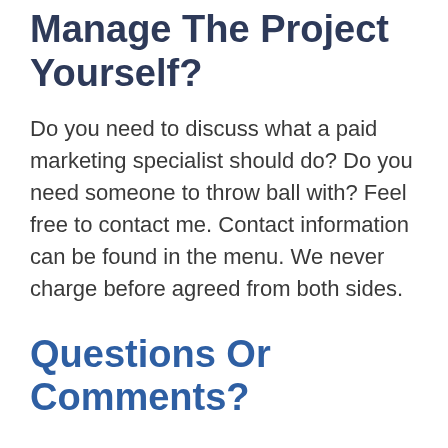Manage The Project Yourself?
Do you need to discuss what a paid marketing specialist should do? Do you need someone to throw ball with? Feel free to contact me. Contact information can be found in the menu. We never charge before agreed from both sides.
Questions Or Comments?